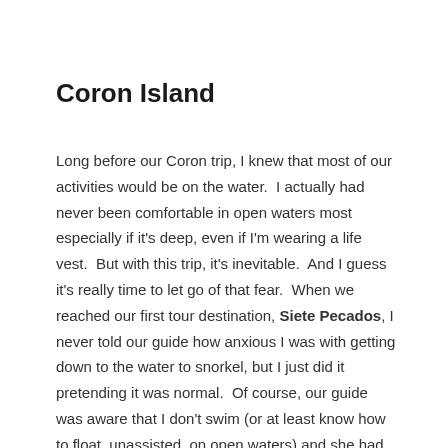Coron Island
Long before our Coron trip, I knew that most of our activities would be on the water.  I actually had never been comfortable in open waters most especially if it's deep, even if I'm wearing a life vest.  But with this trip, it's inevitable.  And I guess it's really time to let go of that fear.  When we reached our first tour destination, Siete Pecados, I never told our guide how anxious I was with getting down to the water to snorkel, but I just did it pretending it was normal.  Of course, our guide was aware that I don't swim (or at least know how to float, unassisted, on open waters) and she had safety precautions in place to turn my